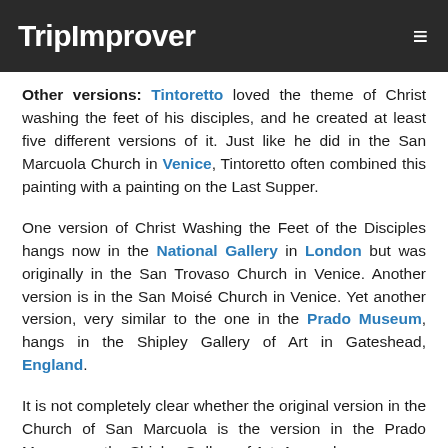TripImprover
Other versions: Tintoretto loved the theme of Christ washing the feet of his disciples, and he created at least five different versions of it. Just like he did in the San Marcuola Church in Venice, Tintoretto often combined this painting with a painting on the Last Supper.
One version of Christ Washing the Feet of the Disciples hangs now in the National Gallery in London but was originally in the San Trovaso Church in Venice. Another version is in the San Moisé Church in Venice. Yet another version, very similar to the one in the Prado Museum, hangs in the Shipley Gallery of Art in Gateshead, England.
It is not completely clear whether the original version in the Church of San Marcuola is the version in the Prado Museum or the Shipley Gallery of Art. A copy by